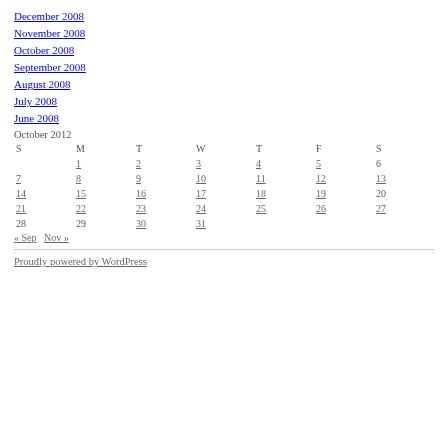December 2008
November 2008
October 2008
September 2008
August 2008
July 2008
June 2008
October 2012
| S | M | T | W | T | F | S |
| --- | --- | --- | --- | --- | --- | --- |
|  | 1 | 2 | 3 | 4 | 5 | 6 |
| 7 | 8 | 9 | 10 | 11 | 12 | 13 |
| 14 | 15 | 16 | 17 | 18 | 19 | 20 |
| 21 | 22 | 23 | 24 | 25 | 26 | 27 |
| 28 | 29 | 30 | 31 |  |  |  |
« Sep   Nov »
Proudly powered by WordPress